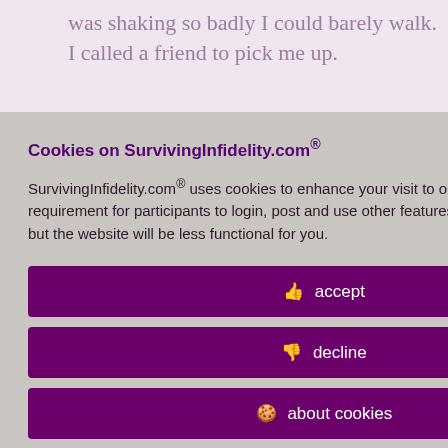was shaking so badly I could barely walk. I called a friend to pick me up.
nt from "I slept e-live it I have hy she made t her ong, it didn't
[Figure (screenshot): Cookie consent overlay for SurvivingInfidelity.com with title 'Cookies on SurvivingInfidelity.com®', body text about cookies, and three buttons: accept, decline, about cookies]
hey went out t was time to er drives if she P's apt (many, ere they sat on ed my GF. My he can't
Policy